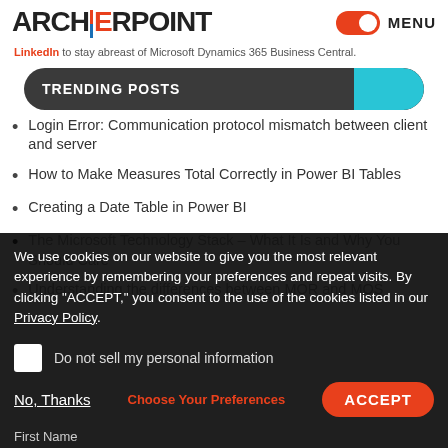ARCHERPOINT | MENU
LinkedIn to stay abreast of Microsoft Dynamics 365 Business Central.
TRENDING POSTS
Login Error: Communication protocol mismatch between client and server
How to Make Measures Total Correctly in Power BI Tables
Creating a Date Table in Power BI
The Microsoft Technology Stack – What It Is and Why You Should Care
Understanding the differences between MOR and MOS
We use cookies on our website to give you the most relevant experience by remembering your preferences and repeat visits. By clicking "ACCEPT," you consent to the use of the cookies listed in our Privacy Policy.
Do not sell my personal information
Choose Your Preferences
No, Thanks
ACCEPT
First Name